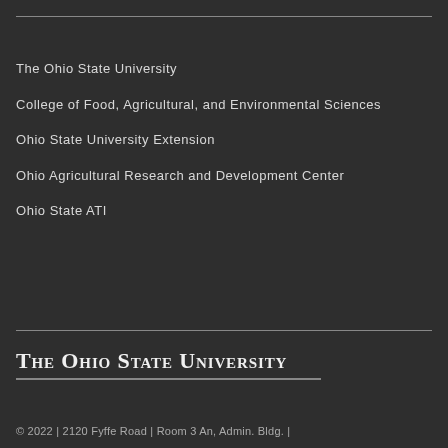The Ohio State University
College of Food, Agricultural, and Environmental Sciences
Ohio State University Extension
Ohio Agricultural Research and Development Center
Ohio State ATI
The Ohio State University
© 2022 | 2120 Fyffe Road | Room 3 An, Admin. Bldg. |